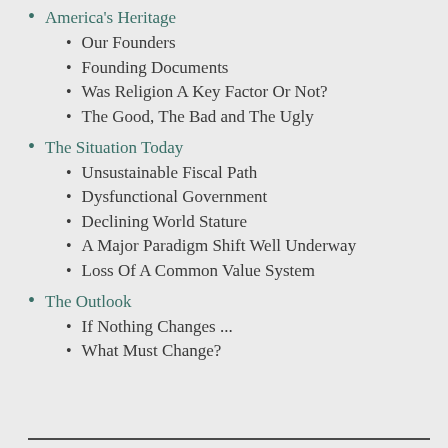America's Heritage
Our Founders
Founding Documents
Was Religion A Key Factor Or Not?
The Good, The Bad and The Ugly
The Situation Today
Unsustainable Fiscal Path
Dysfunctional Government
Declining World Stature
A Major Paradigm Shift Well Underway
Loss Of A Common Value System
The Outlook
If Nothing Changes ...
What Must Change?